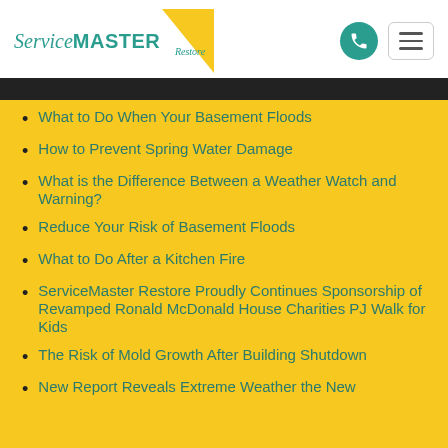[Figure (logo): ServiceMaster Restore logo with teal text and yellow triangle]
What to Do When Your Basement Floods
How to Prevent Spring Water Damage
What is the Difference Between a Weather Watch and Warning?
Reduce Your Risk of Basement Floods
What to Do After a Kitchen Fire
ServiceMaster Restore Proudly Continues Sponsorship of Revamped Ronald McDonald House Charities PJ Walk for Kids
The Risk of Mold Growth After Building Shutdown
New Report Reveals Extreme Weather the New